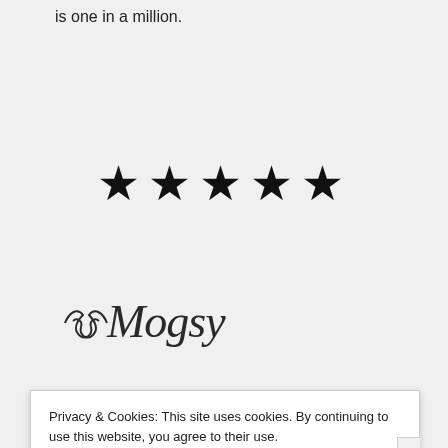is one in a million.
[Figure (other): Five black star rating symbols centered on page]
[Figure (other): Decorative cursive signature reading 'Mogsy' with ornamental flourishes on left and right]
More on The BiblioSanctum:
Privacy & Cookies: This site uses cookies. By continuing to use this website, you agree to their use.
To find out more, including how to control cookies, see here: Cookie Policy
Close and accept